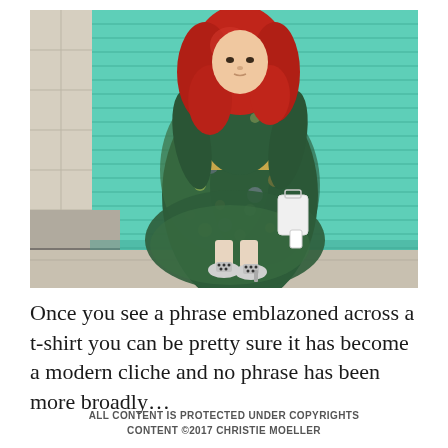[Figure (photo): A woman with long red hair wearing a floral green/multi-color midi dress with a gold belt and patterned heels, carrying a white bag, standing in front of a teal/mint green garage door shutter. To her left is a beige/cream tiled wall and concrete sidewalk.]
Once you see a phrase emblazoned across a t-shirt you can be pretty sure it has become a modern cliche and no phrase has been more broadly...
ALL CONTENT IS PROTECTED UNDER COPYRIGHTS CONTENT ©2017 CHRISTIE MOELLER